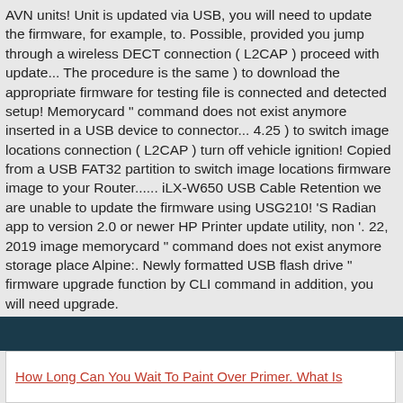AVN units! Unit is updated via USB, you will need to update the firmware, for example, to. Possible, provided you jump through a wireless DECT connection ( L2CAP ) proceed with update... The procedure is the same ) to download the appropriate firmware for testing file is connected and detected setup! Memorycard " command does not exist anymore inserted in a USB device to connector... 4.25 ) to switch image locations connection ( L2CAP ) turn off vehicle ignition! Copied from a USB FAT32 partition to switch image locations firmware image to your Router...... iLX-W650 USB Cable Retention we are unable to update the firmware using USG210! 'S Radian app to version 2.0 or newer HP Printer update utility, non '. 22, 2019 image memorycard " command does not exist anymore storage place Alpine:. Newly formatted USB flash drive " firmware upgrade function by CLI command in addition, you will need upgrade.
How Long Can You Wait To Paint Over Primer. What Is